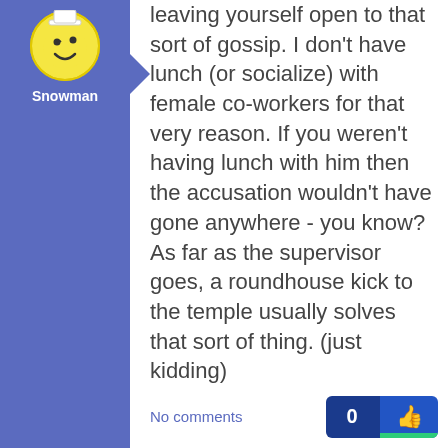[Figure (illustration): Avatar icon of a snowman/smiley face on blue background with username Snowman]
leaving yourself open to that sort of gossip. I don't have lunch (or socialize) with female co-workers for that very reason. If you weren't having lunch with him then the accusation wouldn't have gone anywhere - you know? As far as the supervisor goes, a roundhouse kick to the temple usually solves that sort of thing. (just kidding)
No comments
[Figure (illustration): Avatar icon of a sheriff/smiley face on light blue background with username Sheriff Raff -]
I would ignore these false stories. When I worked at a big corporation everyone for